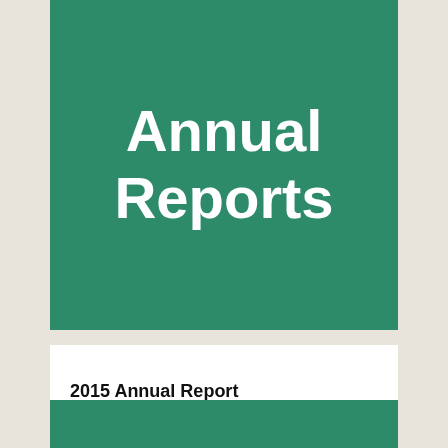Annual Reports
2015 Annual Report
[Figure (other): Download icon — an arrow pointing downward into a tray]